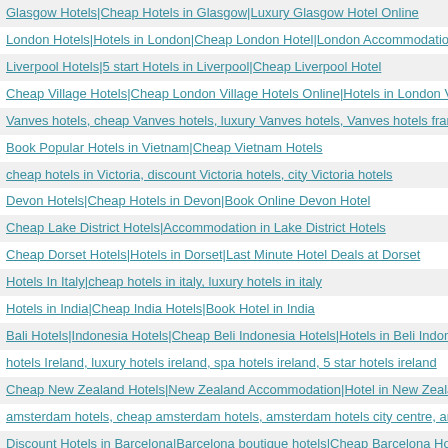Glasgow Hotels|Cheap Hotels in Glasgow|Luxury Glasgow Hotel Online
London Hotels|Hotels in London|Cheap London Hotel|London Accommodation
Liverpool Hotels|5 start Hotels in Liverpool|Cheap Liverpool Hotel
Cheap Village Hotels|Cheap London Village Hotels Online|Hotels in London Village
Vanves hotels, cheap Vanves hotels, luxury Vanves hotels, Vanves hotels france
Book Popular Hotels in Vietnam|Cheap Vietnam Hotels
cheap hotels in Victoria, discount Victoria hotels, city Victoria hotels
Devon Hotels|Cheap Hotels in Devon|Book Online Devon Hotel
Cheap Lake District Hotels|Accommodation in Lake District Hotels
Cheap Dorset Hotels|Hotels in Dorset|Last Minute Hotel Deals at Dorset
Hotels In Italy|cheap hotels in italy, luxury hotels in italy
Hotels in India|Cheap India Hotels|Book Hotel in India
Bali Hotels|Indonesia Hotels|Cheap Beli Indonesia Hotels|Hotels in Beli Indonesia
hotels Ireland, luxury hotels ireland, spa hotels ireland, 5 star hotels ireland
Cheap New Zealand Hotels|New Zealand Accommodation|Hotel in New Zealand
amsterdam hotels, cheap amsterdam hotels, amsterdam hotels city centre, amsterdam hotels n
Discount Hotels in Barcelona|Barcelona boutique hotels|Cheap Barcelona Hotel Deals
Edinburgh Hotels|Cheap Hotels In Edinburgh, edinburgh hotels, edinburgh hotels city centre
Switzerland Hotels Accommodation| Switzerland Cheap Hotels| Switzerland Hotel Reservati
South Africa Hotels, Cheap hotels in south africa, accommodation
Cheap Hotels in Saint Francois Xavier, Saint Francois Xavier Hotels, Saint Francois Xavier
Subic City Hotel|Cheap oi|Room Hotel|Cheap oi